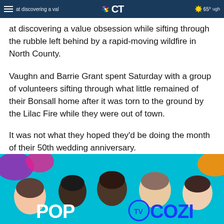at discovering a value obsession while sifting 65° ugh
the rubble left behind by a rapid-moving wildfire in North County.
Vaughn and Barrie Grant spent Saturday with a group of volunteers sifting through what little remained of their Bonsall home after it was torn to the ground by the Lilac Fire while they were out of town.
It was not what they hoped they'd be doing the month of their 50th wedding anniversary.
[Figure (photo): Advertisement banner for POP TV and COZI TV channels, showing upside-down faces of people on a teal/turquoise background with the text 'POP TV COZI']